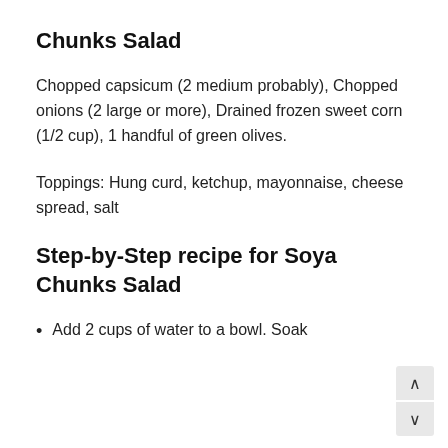Chunks Salad
Chopped capsicum (2 medium probably), Chopped onions (2 large or more), Drained frozen sweet corn (1/2 cup), 1 handful of green olives.
Toppings: Hung curd, ketchup, mayonnaise, cheese spread, salt
Step-by-Step recipe for Soya Chunks Salad
Add 2 cups of water to a bowl. Soak